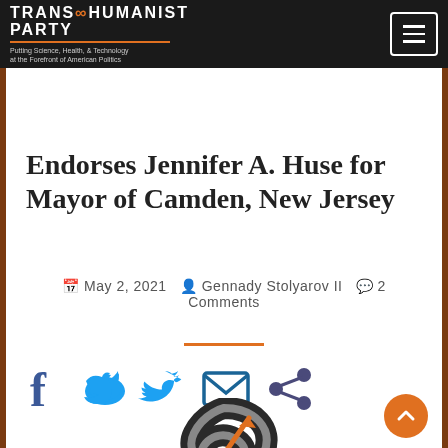TRANSHUMANIST PARTY — Putting Science, Health, & Technology at the Forefront of American Politics
Endorses Jennifer A. Huse for Mayor of Camden, New Jersey
May 2, 2021  Gennady Stolyarov II  2 Comments
[Figure (logo): Transhumanist Party infinity/S logo with orange arrow]
[Figure (infographic): Social sharing icons: Facebook, Twitter, Email, Share]